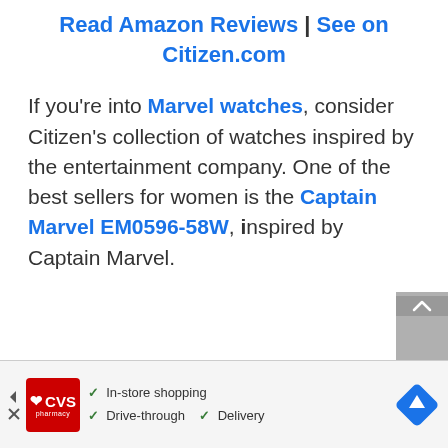Read Amazon Reviews | See on Citizen.com
If you're into Marvel watches, consider Citizen's collection of watches inspired by the entertainment company. One of the best sellers for women is the Captain Marvel EM0596-58W, inspired by Captain Marvel.
[Figure (other): CVS Pharmacy advertisement banner showing in-store shopping, drive-through, and delivery options with a navigation/map diamond icon]